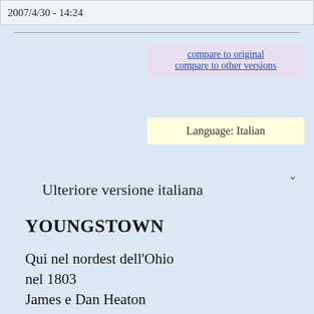2007/4/30 - 14:24
compare to original
compare to other versions
Language: Italian
Ulteriore versione italiana
YOUNGSTOWN
Qui nel nordest dell'Ohio
nel 1803
James e Dan Heaton
trovarono il minerale lungo lo Yellow Creek
Costruirono un altoforno
lunga la riva
e fabbricarono le palle di cannone
che aiutarono l' Unione a vincere la guerra.